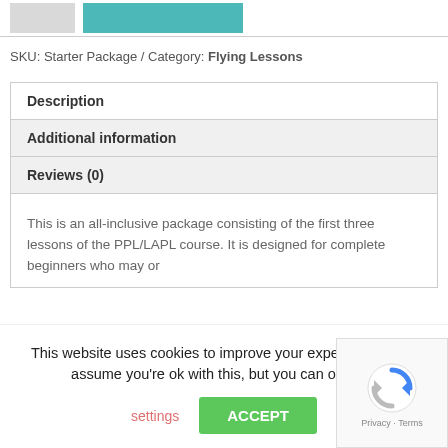[Figure (other): Top bar with gray box and teal/cyan button]
SKU: Starter Package / Category: Flying Lessons
| Description |
| Additional information |
| Reviews (0) |
| This is an all-inclusive package consisting of the first three lessons of the PPL/LAPL course. It is designed for complete beginners who may or |
This website uses cookies to improve your experience. We'll assume you're ok with this, but you can opt-out.
settings
ACCEPT